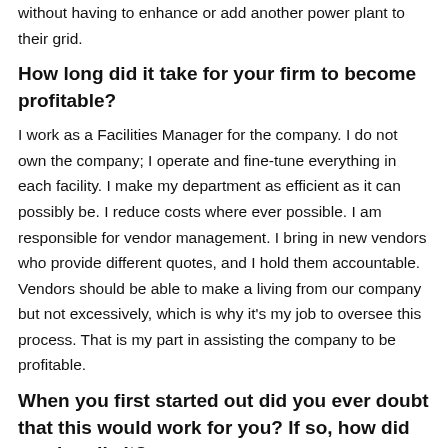without having to enhance or add another power plant to their grid.
How long did it take for your firm to become profitable?
I work as a Facilities Manager for the company. I do not own the company; I operate and fine-tune everything in each facility. I make my department as efficient as it can possibly be. I reduce costs where ever possible. I am responsible for vendor management. I bring in new vendors who provide different quotes, and I hold them accountable. Vendors should be able to make a living from our company but not excessively, which is why it's my job to oversee this process. That is my part in assisting the company to be profitable.
When you first started out did you ever doubt that this would work for you? If so, how did you handle it?